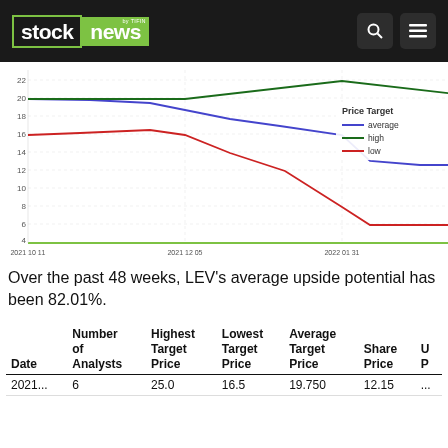stock news by TIFIN
[Figure (line-chart): Price Target]
Over the past 48 weeks, LEV's average upside potential has been 82.01%.
| Date | Number of Analysts | Highest Target Price | Lowest Target Price | Average Target Price | Share Price | U P |
| --- | --- | --- | --- | --- | --- | --- |
| 2021... | 6 | 25.0 | 16.5 | 19.750 | 12.15 | ... |